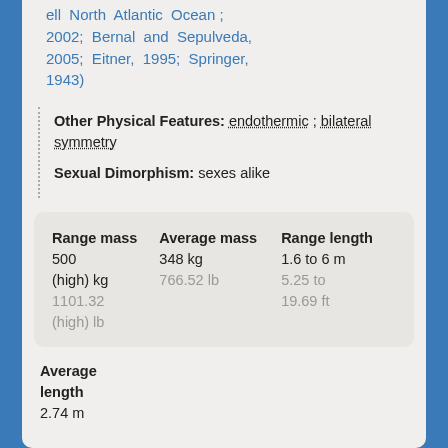ell North Atlantic Ocean ; 2002; Bernal and Sepulveda, 2005; Eitner, 1995; Springer, 1943)
Other Physical Features: endothermic ; bilateral symmetry
Sexual Dimorphism: sexes alike
| Range mass | Average mass | Range length |
| --- | --- | --- |
| 500 (high) kg
1101.32 (high) lb | 348 kg
766.52 lb | 1.6 to 6 m
5.25 to 19.69 ft |
Average length
2.74 m